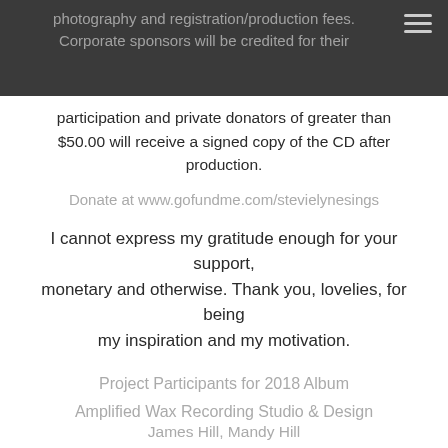photography and registration/production fees. Corporate sponsors will be credited for their participation and private donators of greater than $50.00 will receive a signed copy of the CD after production.
participation and private donators of greater than $50.00 will receive a signed copy of the CD after production.
Donate at www.gofundme.com/stevielynesings
I cannot express my gratitude enough for your support, monetary and otherwise. Thank you, lovelies, for being my inspiration and my motivation.
Project Participants for 2018 Album
Amplified Wax Recording Studio & Design
James Hill, Mandy Hill